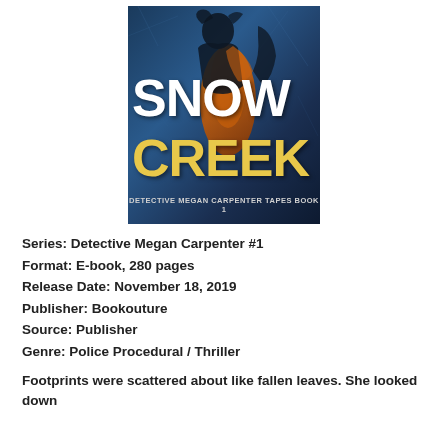[Figure (illustration): Book cover for Snow Creek by Gregg Olsen. Dark blue/icy background with a silhouette of a woman. Large white text reads SNOW and yellow text reads CREEK. Subtitle: Detective Megan Carpenter Tapes Book 1.]
Series: Detective Megan Carpenter #1
Format: E-book, 280 pages
Release Date: November 18, 2019
Publisher: Bookouture
Source: Publisher
Genre: Police Procedural / Thriller
Footprints were scattered about like fallen leaves. She looked down